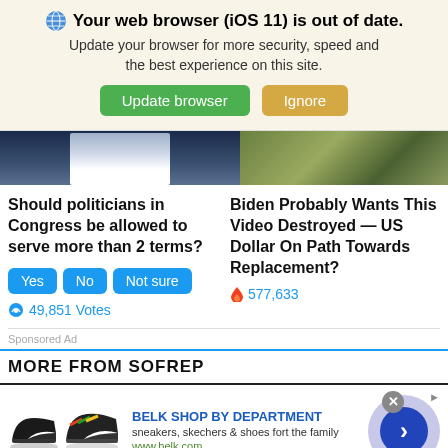🌐 Your web browser (iOS 11) is out of date. Update your browser for more security, speed and the best experience on this site.
Update browser | Ignore
[Figure (photo): Two cropped photos side by side: left shows a person in a suit with dark background, right shows a person with tropical/cannabis plant background]
Should politicians in Congress be allowed to serve more than 2 terms?
Yes  No  Not sure
49,851 Votes
Biden Probably Wants This Video Destroyed — US Dollar On Path Towards Replacement?
577,633
Sponsored Ad
MORE FROM SOFREP
[Figure (screenshot): Belk advertisement banner showing sneakers/shoes, 'BELK SHOP BY DEPARTMENT' text in blue, 'sneakers, skechers & shoes fort the family', www.belk.com URL, and navigation arrow button]